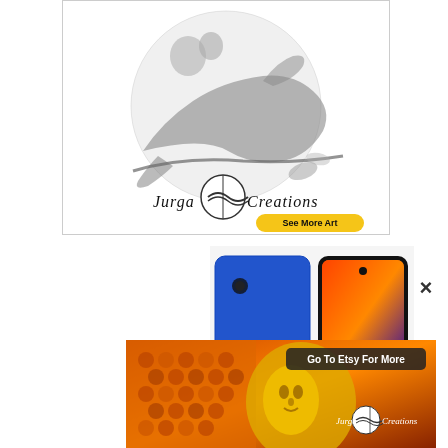[Figure (illustration): Advertisement for Jurga Creations showing a detailed pencil sketch illustration of a lizard/skink on a branch with strawberries, inside a circular composition. Features the Jurga Creations logo (circular yarn ball design) and a yellow 'See More Art' button.]
[Figure (photo): Advertisement showing two Samsung smartphones (blue back and front view showing orange/colorful display)]
[Figure (illustration): Advertisement for Jurga Creations on Etsy showing a colorful painting of a sun face with bee/honeycomb motifs in orange, gold, and black tones. Features Jurga Creations logo and a dark button reading 'Go To Etsy For More'.]
×